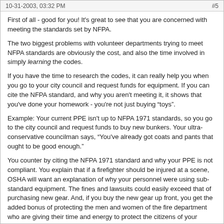10-31-2003, 03:32 PM   #5
First of all - good for you! It's great to see that you are concerned with meeting the standards set by NFPA.
The two biggest problems with volunteer departments trying to meet NFPA standards are obviously the cost, and also the time involved in simply learning the codes.
If you have the time to research the codes, it can really help you when you go to your city council and request funds for equipment. If you can cite the NFPA standard, and why you aren't meeting it, it shows that you've done your homework - you're not just buying "toys".
Example: Your current PPE isn't up to NFPA 1971 standards, so you go to the city council and request funds to buy new bunkers. Your ultra-conservative councilman says, "You've already got coats and pants that ought to be good enough."
You counter by citing the NFPA 1971 standard and why your PPE is not compliant. You explain that if a firefighter should be injured at a scene, OSHA will want an explanation of why your personnel were using sub-standard equipment. The fines and lawsuits could easily exceed that of purchasing new gear. And, if you buy the new gear up front, you get the added bonus of protecting the men and women of the fire department who are giving their time and energy to protect the citizens of your community.
I'm sure you've got a long road ahead of you, but keep on moving this direction. This will take a lot of time - probably several years. Take small steps, get what you can when you can, keep chipping away at it. Find a good grant-writer to apply for some of the free money that's out there. Our department received over $160,000 last year - really helped us get closer to NFPA compliance.